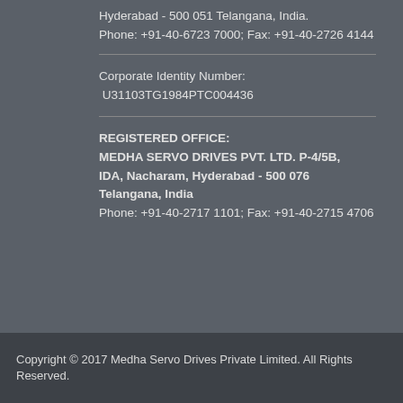Hyderabad - 500 051 Telangana, India. Phone: +91-40-6723 7000; Fax: +91-40-2726 4144
Corporate Identity Number: U31103TG1984PTC004436
REGISTERED OFFICE: MEDHA SERVO DRIVES PVT. LTD. P-4/5B, IDA, Nacharam, Hyderabad - 500 076 Telangana, India Phone: +91-40-2717 1101; Fax: +91-40-2715 4706
Copyright © 2017 Medha Servo Drives Private Limited. All Rights Reserved.